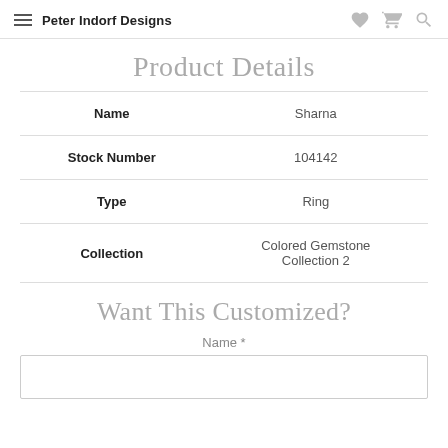Peter Indorf Designs
Product Details
| Field | Value |
| --- | --- |
| Name | Sharna |
| Stock Number | 104142 |
| Type | Ring |
| Collection | Colored Gemstone Collection 2 |
Want This Customized?
Name *
[input field]